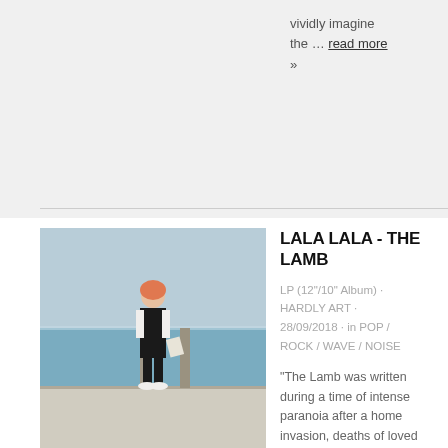vividly imagine the … read more »
LALA LALA - THE LAMB
LP (12"/10" Album) · HARDLY ART · 28/09/2018 · in POP / ROCK / WAVE / NOISE
[Figure (photo): Person wearing black overalls standing near a waterfront/pier with water and sky in the background]
"The Lamb was written during a time of intense paranoia after a home invasion, deaths of loved ones and general violence around me and my friends," says Lillie West, the Chicago-based